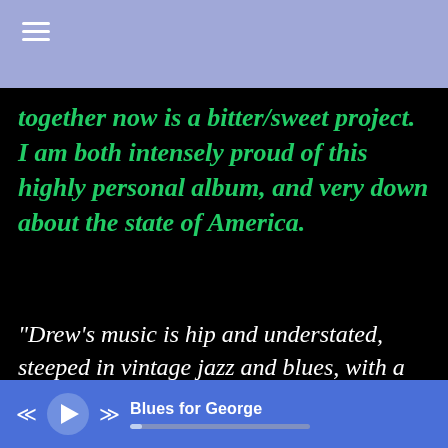together now is a bitter/sweet project. I am both intensely proud of this highly personal album, and very down about the state of America.
"Drew's music is hip and understated, steeped in vintage jazz and blues, with a melodic touch all his own.  Amidst his supple, spacious arrangements, the artful players stretch out beautifully."   - Kirk Nurock: composer, jazz pianist, New School
Blues for George